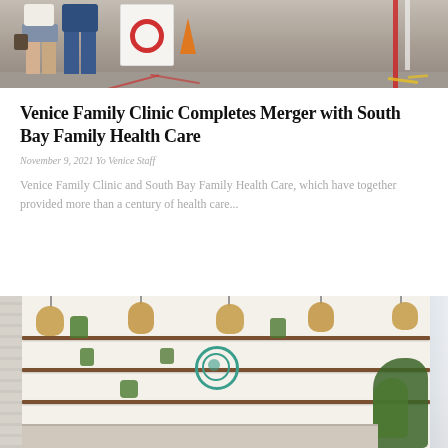[Figure (photo): Two people standing in a parking area, one in blue pants and one in shorts, with a sign bearing a red circle (health/COVID testing site) and an orange cone in the background.]
Venice Family Clinic Completes Merger with South Bay Family Health Care
November 9, 2021 Yo Venice Staff
Venice Family Clinic and South Bay Family Health Care, which have together provided more than a century of health care...
[Figure (photo): Interior of a modern healthcare clinic reception area with wooden shelves, rattan pendant lights, hanging plants, a teal mandala wall decoration, and a large plant in the corner.]